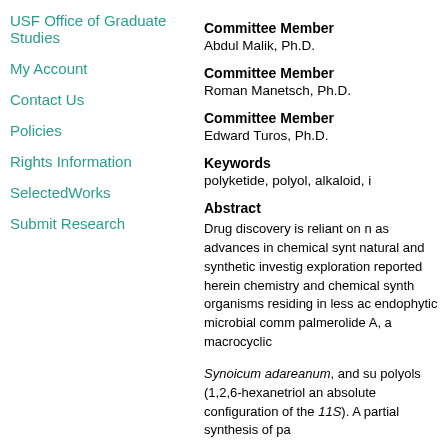USF Office of Graduate Studies
My Account
Contact Us
Policies
Rights Information
SelectedWorks
Submit Research
Committee Member
Abdul Malik, Ph.D.
Committee Member
Roman Manetsch, Ph.D.
Committee Member
Edward Turos, Ph.D.
Keywords
polyketide, polyol, alkaloid, i
Abstract
Drug discovery is reliant on n as advances in chemical synt natural and synthetic investig exploration reported herein chemistry and chemical synth organisms residing in less ac endophytic microbial comm palmerolide A, a macrocyclic
Synoicum adareanum, and su polyols (1,2,6-hexanetriol an absolute configuration of the 11S). A partial synthesis of pa